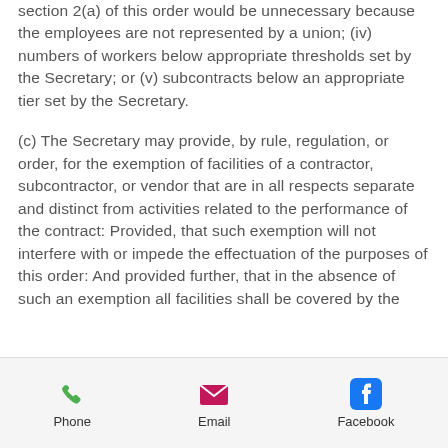section 2(a) of this order would be unnecessary because the employees are not represented by a union; (iv) numbers of workers below appropriate thresholds set by the Secretary; or (v) subcontracts below an appropriate tier set by the Secretary.
(c) The Secretary may provide, by rule, regulation, or order, for the exemption of facilities of a contractor, subcontractor, or vendor that are in all respects separate and distinct from activities related to the performance of the contract: Provided, that such exemption will not interfere with or impede the effectuation of the purposes of this order: And provided further, that in the absence of such an exemption all facilities shall be covered by the
Phone   Email   Facebook